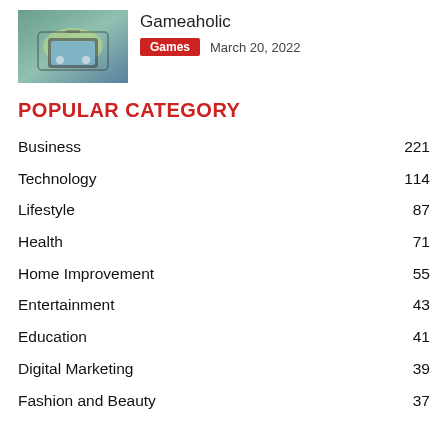[Figure (photo): Thumbnail photo of person holding a tablet/phone playing a mobile game with colorful map/game content on screen]
Gameaholic
Games   March 20, 2022
POPULAR CATEGORY
Business   221
Technology   114
Lifestyle   87
Health   71
Home Improvement   55
Entertainment   43
Education   41
Digital Marketing   39
Fashion and Beauty   37